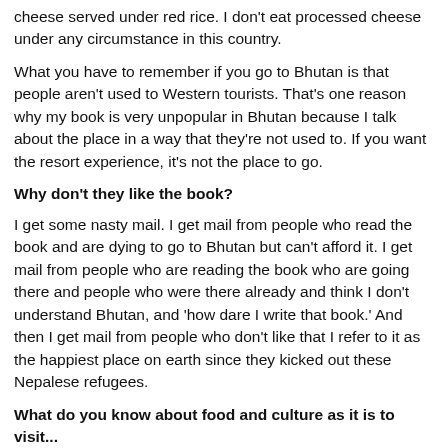cheese served under red rice. I don't eat processed cheese under any circumstance in this country.
What you have to remember if you go to Bhutan is that people aren't used to Western tourists. That's one reason why my book is very unpopular in Bhutan because I talk about the place in a way that they're not used to. If you want the resort experience, it's not the place to go.
Why don't they like the book?
I get some nasty mail. I get mail from people who read the book and are dying to go to Bhutan but can't afford it. I get mail from people who are reading the book who are going there and people who were there already and think I don't understand Bhutan, and 'how dare I write that book.' And then I get mail from people who don't like that I refer to it as the happiest place on earth since they kicked out these Nepalese refugees.
What do you know about food and culture as it is to visit...